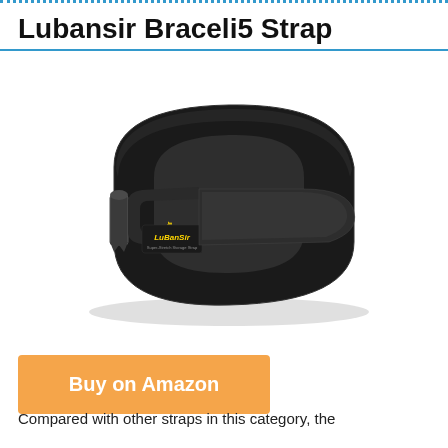Lubansir Braceli5 Strap
[Figure (photo): Product photo of a Lubansir Braceli5 black elastic strap with a buckle closure and LuBanSir logo in yellow text]
Buy on Amazon
Compared with other straps in this category, the